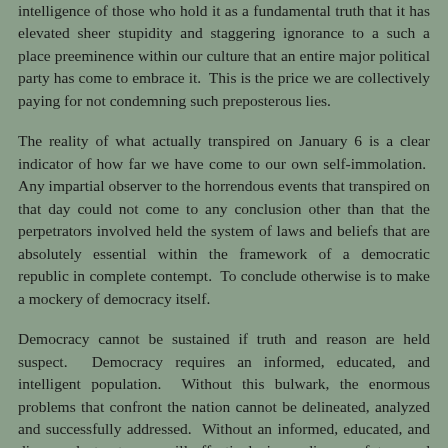intelligence of those who hold it as a fundamental truth that it has elevated sheer stupidity and staggering ignorance to a such a place preeminence within our culture that an entire major political party has come to embrace it.  This is the price we are collectively paying for not condemning such preposterous lies.
The reality of what actually transpired on January 6 is a clear indicator of how far we have come to our own self-immolation.  Any impartial observer to the horrendous events that transpired on that day could not come to any conclusion other than that the perpetrators involved held the system of laws and beliefs that are absolutely essential within the framework of a democratic republic in complete contempt.  To conclude otherwise is to make a mockery of democracy itself.
Democracy cannot be sustained if truth and reason are held suspect.  Democracy requires an informed, educated, and intelligent population.  Without this bulwark, the enormous problems that confront the nation cannot be delineated, analyzed and successfully addressed.  Without an informed, educated, and diverse electorate, we will effectively jeopardize our future and may well experience a kind of dystopia that has usually been addressed in fictional literature and the medium of film.